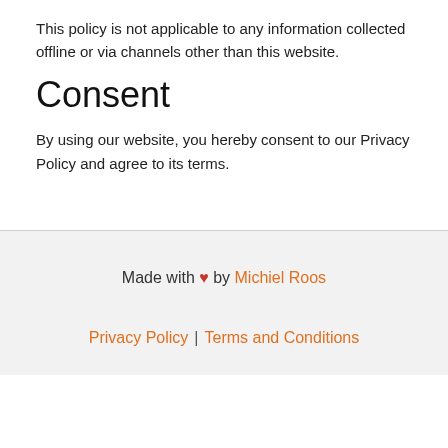This policy is not applicable to any information collected offline or via channels other than this website.
Consent
By using our website, you hereby consent to our Privacy Policy and agree to its terms.
Made with ♥ by Michiel Roos | Privacy Policy | Terms and Conditions